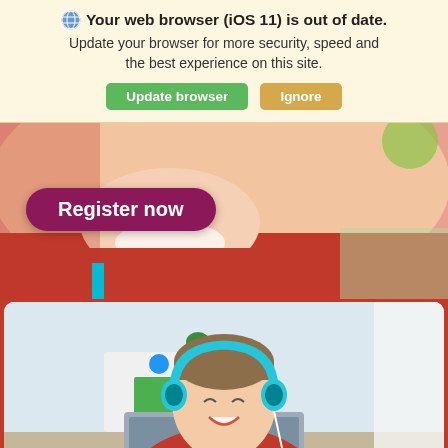🌐 Your web browser (iOS 11) is out of date. Update your browser for more security, speed and the best experience on this site.
Update browser | Ignore
[Figure (photo): Close-up of a smiling child in a red shirt, bright cheerful background]
Register now
[Figure (photo): A smiling boy wearing teal headphones and a red shirt, looking at a laptop/tablet on a desk in a colorful room]